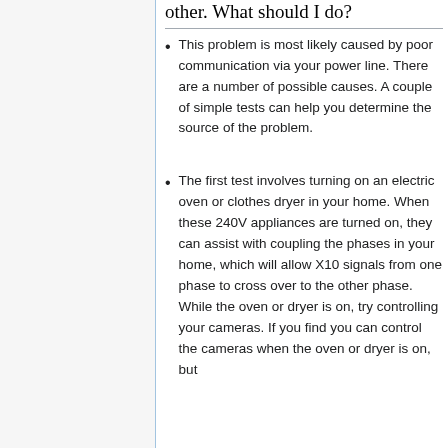other. What should I do?
This problem is most likely caused by poor communication via your power line. There are a number of possible causes. A couple of simple tests can help you determine the source of the problem.
The first test involves turning on an electric oven or clothes dryer in your home. When these 240V appliances are turned on, they can assist with coupling the phases in your home, which will allow X10 signals from one phase to cross over to the other phase. While the oven or dryer is on, try controlling your cameras. If you find you can control the cameras when the oven or dryer is on, but